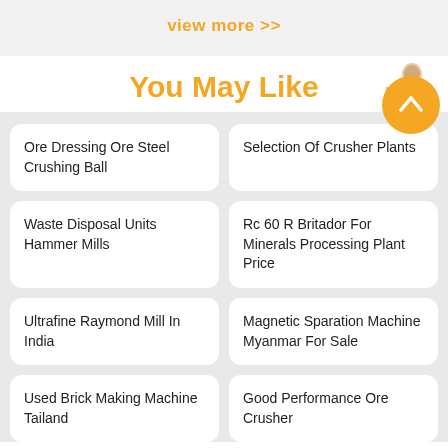view more >>
You May Like
Ore Dressing Ore Steel Crushing Ball
Selection Of Crusher Plants
Waste Disposal Units Hammer Mills
Rc 60 R Britador For Minerals Processing Plant Price
Ultrafine Raymond Mill In India
Magnetic Sparation Machine Myanmar For Sale
Used Brick Making Machine Tailand
Good Performance Ore Crusher